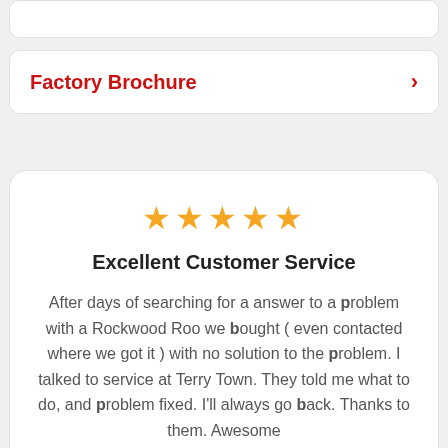Factory Brochure
[Figure (other): Review card with 5 gold stars, title 'Excellent Customer Service', and a customer review text about Rockwood Roo and Terry Town service.]
Excellent Customer Service
After days of searching for a answer to a problem with a Rockwood Roo we bought ( even contacted where we got it ) with no solution to the problem. I talked to service at Terry Town. They told me what to do, and problem fixed. I'll always go back. Thanks to them. Awesome